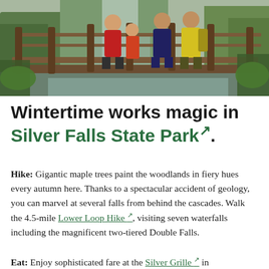[Figure (photo): Three people in colorful jackets (red, dark blue, yellow) standing on a wooden bridge or viewing platform with fence railings, surrounded by lush green vegetation and a waterfall visible in the background.]
Wintertime works magic in Silver Falls State Park.
Hike: Gigantic maple trees paint the woodlands in fiery hues every autumn here. Thanks to a spectacular accident of geology, you can marvel at several falls from behind the cascades. Walk the 4.5-mile Lower Loop Hike, visiting seven waterfalls including the magnificent two-tiered Double Falls.
Eat: Enjoy sophisticated fare at the Silver Grille in